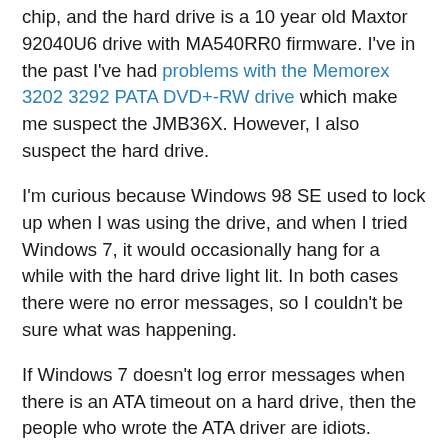chip, and the hard drive is a 10 year old Maxtor 92040U6 drive with MA540RR0 firmware. I've in the past I've had problems with the Memorex 3202 3292 PATA DVD+-RW drive which make me suspect the JMB36X. However, I also suspect the hard drive.
I'm curious because Windows 98 SE used to lock up when I was using the drive, and when I tried Windows 7, it would occasionally hang for a while with the hard drive light lit. In both cases there were no error messages, so I couldn't be sure what was happening.
If Windows 7 doesn't log error messages when there is an ATA timeout on a hard drive, then the people who wrote the ATA driver are idiots. Meanwhile, Firefox fails to properly display the Linux source file which produced the error message, and searching through a lot of text in Internet Explorer 8.0 is insanely slow, as if some evil genius invented a search algorithm that's even slower than a totally dumb algorithm. Sometimes, software sucks way too much. But hey, in this case at least it gives me something to do during the backup, and I don't have to routinely use PATA and deal